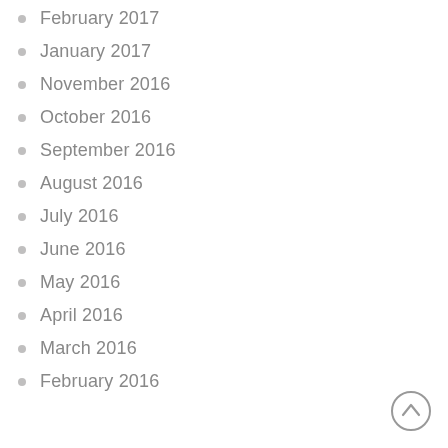February 2017
January 2017
November 2016
October 2016
September 2016
August 2016
July 2016
June 2016
May 2016
April 2016
March 2016
February 2016